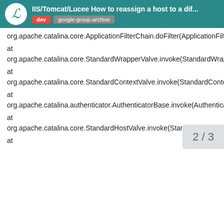IIS/Tomcat/Lucee How to reassign a host to a dif...
org.apache.catalina.core.ApplicationFilterChain.doFilter(ApplicationFilterChain.java:207)
at
org.apache.catalina.core.StandardWrapperValve.invoke(StandardWrapperValve.java:212)
at
org.apache.catalina.core.StandardContextValve.invoke(StandardContextValve.java:106)
at
org.apache.catalina.authenticator.AuthenticatorBase.invoke(AuthenticatorBase.java:502)
at
org.apache.catalina.core.StandardHostValve.invoke(StandardHostValve.java:141)
at